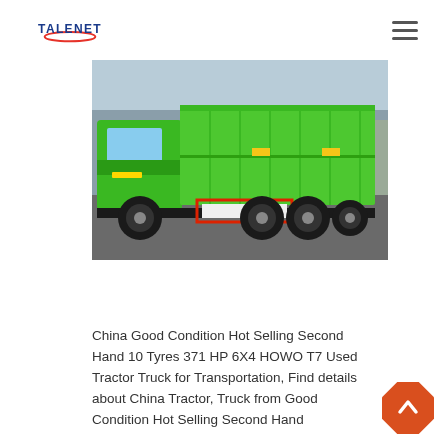TALENET
[Figure (photo): A bright green HOWO T7 dump truck (6x4 configuration) with a large green cargo bed, parked in a yard. The truck has a red-outlined license plate area and visible rear dual axles.]
China Good Condition Hot Selling Second Hand 10 Tyres 371 HP 6X4 HOWO T7 Used Tractor Truck for Transportation, Find details about China Tractor, Truck from Good Condition Hot Selling Second Hand